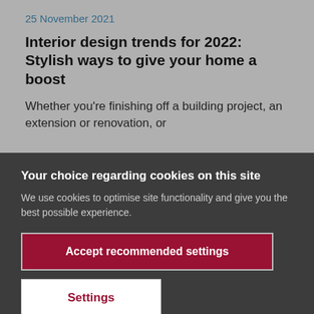25 November 2021
Interior design trends for 2022: Stylish ways to give your home a boost
Whether you’re finishing off a building project, an extension or renovation, or
Your choice regarding cookies on this site
We use cookies to optimise site functionality and give you the best possible experience.
Accept recommended settings
Settings